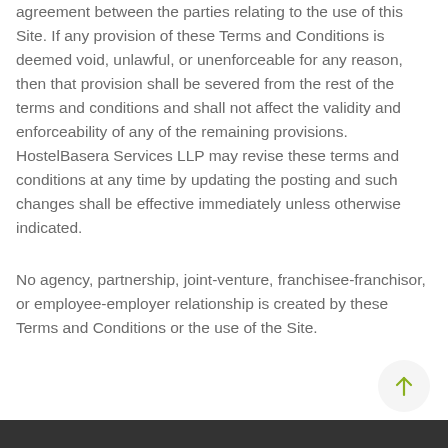agreement between the parties relating to the use of this Site. If any provision of these Terms and Conditions is deemed void, unlawful, or unenforceable for any reason, then that provision shall be severed from the rest of the terms and conditions and shall not affect the validity and enforceability of any of the remaining provisions. HostelBasera Services LLP may revise these terms and conditions at any time by updating the posting and such changes shall be effective immediately unless otherwise indicated.
No agency, partnership, joint-venture, franchisee-franchisor, or employee-employer relationship is created by these Terms and Conditions or the use of the Site.